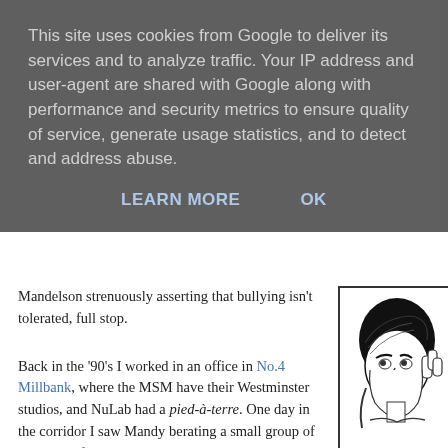This site uses cookies from Google to deliver its services and to analyze traffic. Your IP address and user-agent are shared with Google along with performance and security metrics to ensure quality of service, generate usage statistics, and to detect and address abuse.
LEARN MORE   OK
Mandelson strenuously asserting that bullying isn't tolerated, full stop.
[Figure (illustration): Black and white caricature illustration of a person with distinctive hair and facial features, hand raised to chin in a scheming or thoughtful pose. Caption reads '© NICK DREW 2008']
Back in the '90's I worked in an office in No.4 Millbank, where the MSM have their Westminster studios, and NuLab had a pied-à-terre. One day in the corridor I saw Mandy berating a small group of young-ish folk, whom I took to be either Party functionaries or junior broadcasting hacks. He was assuring them, quietly but in the most menacing terms, that if whatever-it-was were to reoccur, he would personally ensure they never worked in London again.
Perhaps this was not bullying, but merely a statement of fact. It did seem to be